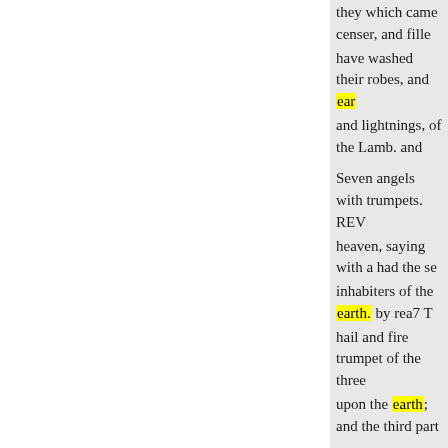they which came censer, and fille have washed their robes, and ear and lightnings, of the Lamb. and
Seven angels with trumpets. REV heaven, saying with a had the se inhabiters of the earth. by rea7 T hail and fire trumpet of the three upon the earth; and the third part
A star falleth from heaven. ND heaven unto the earth: and to sou with fire was bottomless pit.
cast into the sea: and the third 2 arose a
9 And the third part of the smo furnace; and sea, and had life, di by reason of the smoke of stroye
10 And the third angel sound- upon the earth: from heaven, bur as the scorpions of the earth thiro
4 And it was commanded 11 A